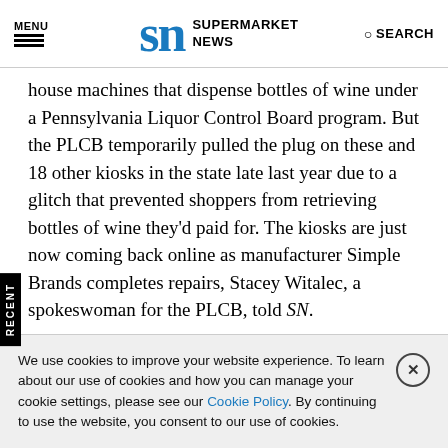MENU | SN SUPERMARKET NEWS | SEARCH
house machines that dispense bottles of wine under a Pennsylvania Liquor Control Board program. But the PLCB temporarily pulled the plug on these and 18 other kiosks in the state late last year due to a glitch that prevented shoppers from retrieving bottles of wine they'd paid for. The kiosks are just now coming back online as manufacturer Simple Brands completes repairs, Stacey Witalec, a spokeswoman for the PLCB, told SN.
Hopefully by the end of the week all 28 will be operational."
We use cookies to improve your website experience. To learn about our use of cookies and how you can manage your cookie settings, please see our Cookie Policy. By continuing to use the website, you consent to our use of cookies.